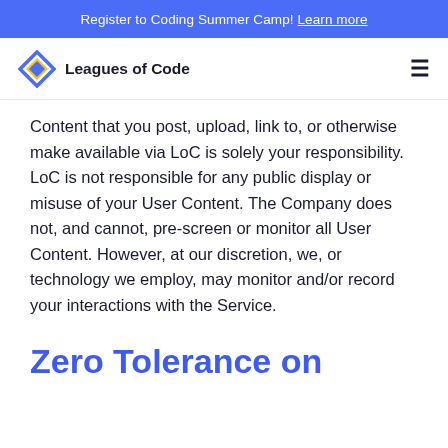Register to Coding Summer Camp! Learn more
[Figure (logo): Leagues of Code logo with diamond shape icon and text 'Leagues of Code']
Content that you post, upload, link to, or otherwise make available via LoC is solely your responsibility. LoC is not responsible for any public display or misuse of your User Content. The Company does not, and cannot, pre-screen or monitor all User Content. However, at our discretion, we, or technology we employ, may monitor and/or record your interactions with the Service.
Zero Tolerance on